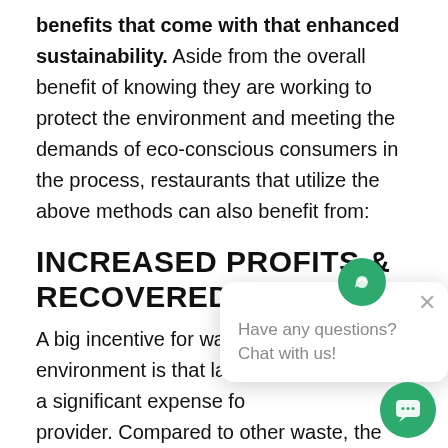benefits that come with that enhanced sustainability. Aside from the overall benefit of knowing they are working to protect the environment and meeting the demands of eco-conscious consumers in the process, restaurants that utilize the above methods can also benefit from:
INCREASED PROFITS & RECOVERED COSTS
A big incentive for waste… environment is that land… a significant expense fo… provider. Compared to other waste, the largest contributor to US landfills is food waste, costing $… billion each year when considering production and